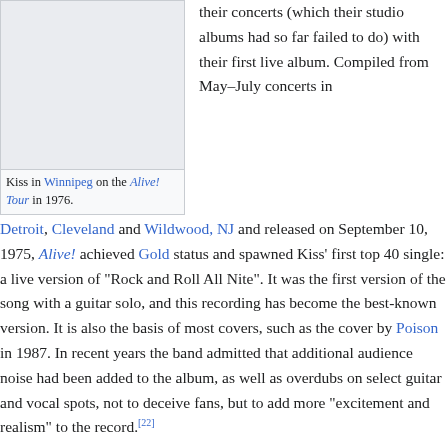[Figure (photo): Photo of Kiss in Winnipeg on the Alive! Tour in 1976.]
Kiss in Winnipeg on the Alive! Tour in 1976.
their concerts (which their studio albums had so far failed to do) with their first live album. Compiled from May–July concerts in Detroit, Cleveland and Wildwood, NJ and released on September 10, 1975, Alive! achieved Gold status and spawned Kiss' first top 40 single: a live version of "Rock and Roll All Nite". It was the first version of the song with a guitar solo, and this recording has become the best-known version. It is also the basis of most covers, such as the cover by Poison in 1987. In recent years the band admitted that additional audience noise had been added to the album, as well as overdubs on select guitar and vocal spots, not to deceive fans, but to add more "excitement and realism" to the record.[22]
The success of Alive! not only brought Kiss the breakthrough they